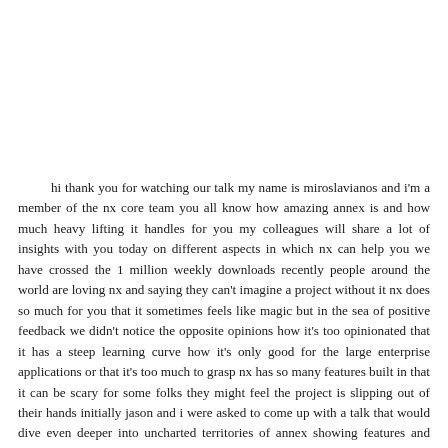hi thank you for watching our talk my name is miroslavianos and i'm a member of the nx core team you all know how amazing annex is and how much heavy lifting it handles for you my colleagues will share a lot of insights with you today on different aspects in which nx can help you we have crossed the 1 million weekly downloads recently people around the world are loving nx and saying they can't imagine a project without it nx does so much for you that it sometimes feels like magic but in the sea of positive feedback we didn't notice the opposite opinions how it's too opinionated that it has a steep learning curve how it's only good for the large enterprise applications or that it's too much to grasp nx has so many features built in that it can be scary for some folks they might feel the project is slipping out of their hands initially jason and i were asked to come up with a talk that would dive even deeper into uncharted territories of annex showing features and possibilities most users don't know about but jason had a different idea you see we had a lot of talks showing the vast complexness and features of nx but none showing how simple it is under the hood so today we'll show you how to build your own nx workspace from scratch using just the nx package we'll go back to the days where you would code in notepad and knew what every line in your project was doing yes the following demonstration we